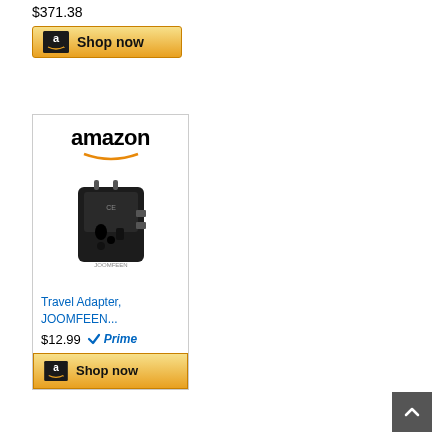$371.38
[Figure (screenshot): Amazon 'Shop now' button with Amazon logo icon on golden gradient background, top product]
[Figure (screenshot): Amazon product card showing a black travel adapter (JOOMFEEN brand), priced at $12.99 with Prime badge, Amazon logo header, and Shop now button]
[Figure (screenshot): Back to top button, dark gray square with upward chevron arrow, bottom right corner]